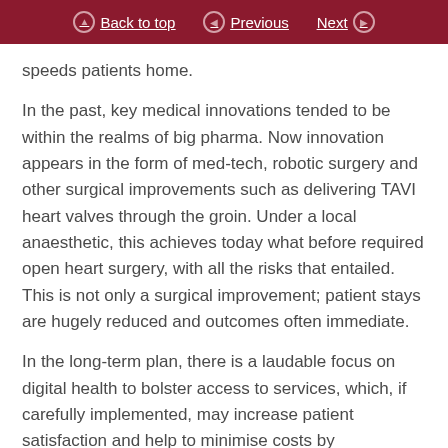Back to top  Previous  Next
speeds patients home.
In the past, key medical innovations tended to be within the realms of big pharma. Now innovation appears in the form of med-tech, robotic surgery and other surgical improvements such as delivering TAVI heart valves through the groin. Under a local anaesthetic, this achieves today what before required open heart surgery, with all the risks that entailed. This is not only a surgical improvement; patient stays are hugely reduced and outcomes often immediate.
In the long-term plan, there is a laudable focus on digital health to bolster access to services, which, if carefully implemented, may increase patient satisfaction and help to minimise costs by...